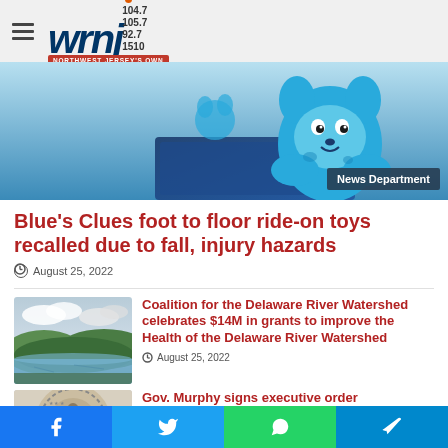wrnj 104.7 105.7 92.7 1510 NORTHWEST JERSEY'S OWN
[Figure (photo): Blue stuffed animal toy (Blue's Clues character) on a colorful box background. Overlay badge reads 'News Department']
Blue's Clues foot to floor ride-on toys recalled due to fall, injury hazards
August 25, 2022
[Figure (photo): Landscape photo of a river or lake with green hills and cloudy sky — Delaware River Watershed scene]
Coalition for the Delaware River Watershed celebrates $14M in grants to improve the Health of the Delaware River Watershed
August 25, 2022
[Figure (photo): Circular official seal or emblem (partially visible), appears to be a government/state seal]
Gov. Murphy signs executive order
Facebook Twitter WhatsApp Telegram